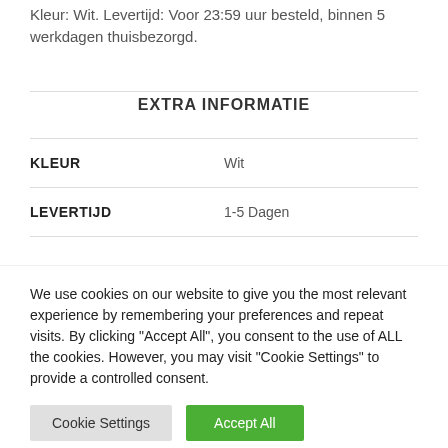Kleur: Wit. Levertijd: Voor 23:59 uur besteld, binnen 5 werkdagen thuisbezorgd.
EXTRA INFORMATIE
| KLEUR | Wit |
| LEVERTIJD | 1-5 Dagen |
We use cookies on our website to give you the most relevant experience by remembering your preferences and repeat visits. By clicking “Accept All”, you consent to the use of ALL the cookies. However, you may visit “Cookie Settings” to provide a controlled consent.
Cookie Settings  Accept All